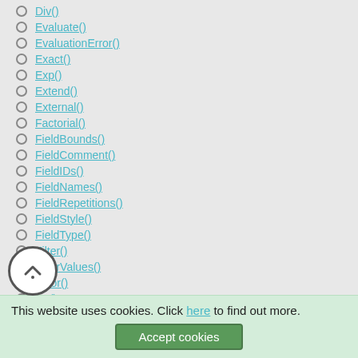Div()
Evaluate()
EvaluationError()
Exact()
Exp()
Extend()
External()
Factorial()
FieldBounds()
FieldComment()
FieldIDs()
FieldNames()
FieldRepetitions()
FieldStyle()
FieldType()
Filter()
FilterValues()
Floor()
FV()
Get(AccountName)
Get(ActiveFieldContents)
This website uses cookies. Click here to find out more. Accept cookies